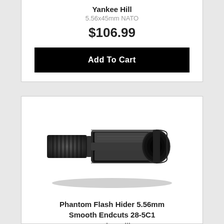Yankee Hill
5.56x45mm NATO
$106.99
Add To Cart
[Figure (photo): Phantom Flash Hider 5.56mm with smooth endcuts, black metal, cylindrical with open slots on the sides]
Phantom Flash Hider 5.56mm Smooth Endcuts 28-5C1
Yankee Hill
$33.99